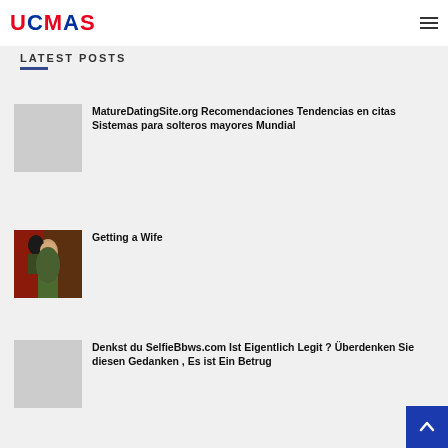UCMAS
LATEST POSTS
MatureDatingSite.org Recomendaciones Tendencias en citas Sistemas para solteros mayores Mundial
Getting a Wife
Denkst du SelfieBbws.com Ist Eigentlich Legit ? Überdenken Sie diesen Gedanken , Es ist Ein Betrug